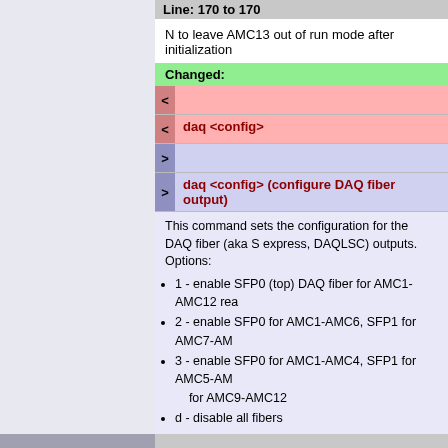Line: 170 to 170
N to leave AMC13 out of run mode after initialization
Changed:
<
< daq <config>
>
> daq <config> (configure DAQ fiber output)
This command sets the configuration for the DAQ fiber (aka S express, DAQLSC) outputs. Options:
1 - enable SFP0 (top) DAQ fiber for AMC1-AMC12 rea
2 - enable SFP0 for AMC1-AMC6, SFP1 for AMC7-AM
3 - enable SFP0 for AMC1-AMC4, SFP1 for AMC5-AM for AMC9-AMC12
d - disable all fibers
Note: recommend doing 'rd' (daq reset) after changing config
localL1A <mode> <burst> <rate> (Configure local L1 generator)